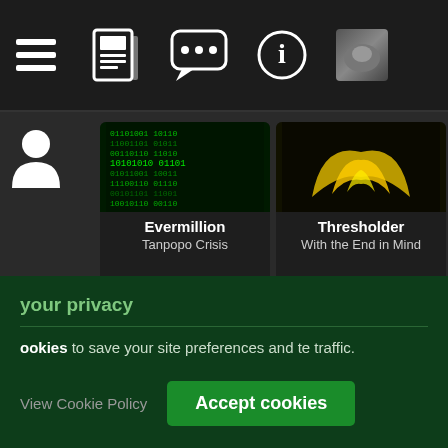[Figure (screenshot): Website navigation bar with icons: list/menu, newspaper, chat bubble, info circle, and a thumbnail image]
[Figure (screenshot): Music album cards showing Evermillion / Tanpopo Crisis, Thresholder / With the End in Mind, and a partially visible third card]
Support Us :: © 2011-2022 Lycanthropia.net :: Sta...
your privacy
ookies to save your site preferences and te traffic.
View Cookie Policy
Accept cookies